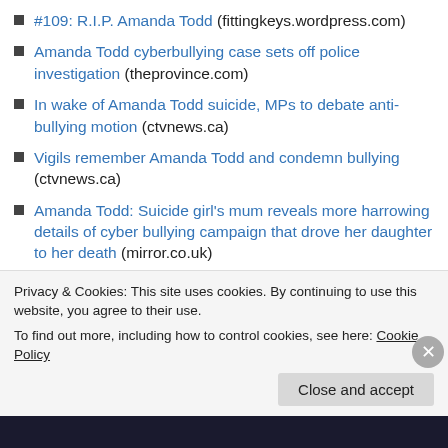#109: R.I.P. Amanda Todd (fittingkeys.wordpress.com)
Amanda Todd cyberbullying case sets off police investigation (theprovince.com)
In wake of Amanda Todd suicide, MPs to debate anti-bullying motion (ctvnews.ca)
Vigils remember Amanda Todd and condemn bullying (ctvnews.ca)
Amanda Todd: Suicide girl's mum reveals more harrowing details of cyber bullying campaign that drove her daughter to her death (mirror.co.uk)
Outrage at mockery of BC teen Amanda Todd's suicide
Privacy & Cookies: This site uses cookies. By continuing to use this website, you agree to their use.
To find out more, including how to control cookies, see here: Cookie Policy